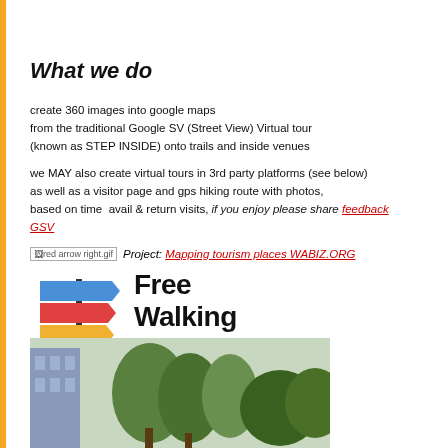What we do
create 360 images into google maps
from the traditional Google SV (Street View) Virtual tour
(known as STEP INSIDE) onto trails and inside venues
we MAY also create virtual tours in 3rd party platforms (see below) as well as a visitor page and gps hiking route with photos, based on time  avail & return visits, if you enjoy please share feedback GSV
[red arrow right.gif]  Project: Mapping tourism places WABIZ.ORG
[Figure (logo): Free Walking Tours By Locals logo with colorful directional sign post]
[Figure (photo): Outdoor photo showing trees and a building]